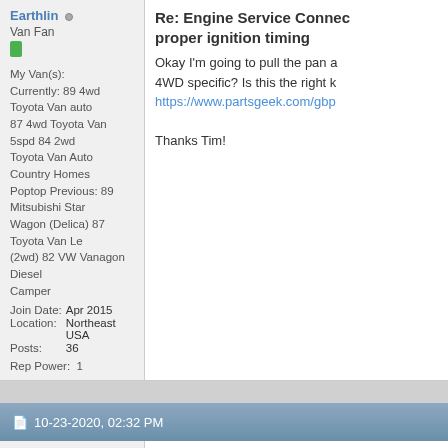Earthlin (online indicator)
Van Fan
My Van(s): Currently: 89 4wd Toyota Van auto 87 4wd Toyota Van 5spd 84 2wd Toyota Van Auto Country Homes Poptop Previous: 89 Mitsubishi Star Wagon (Delica) 87 Toyota Van Le (2wd) 82 VW Vanagon Diesel Camper
Join Date: Apr 2015
Location: Northeast USA
Posts: 36
Rep Power: 1
Re: Engine Service Connect... proper ignition timing
Okay I'm going to pull the pan a... 4WD specific? Is this the right k... https://www.partsgeek.com/gbp...

Thanks Tim!
10-23-2020, 02:32 PM
timsrv (online indicator)
Administrator
[Figure (photo): Black and white illustration/photo of a Toyota Van (boxy minivan) from a forum avatar]
Re: Engine Service Connect... proper ignition timing
Yes, that's it. That one fits all ye... auto transmissions. More detail... THREAD starting on post #14.